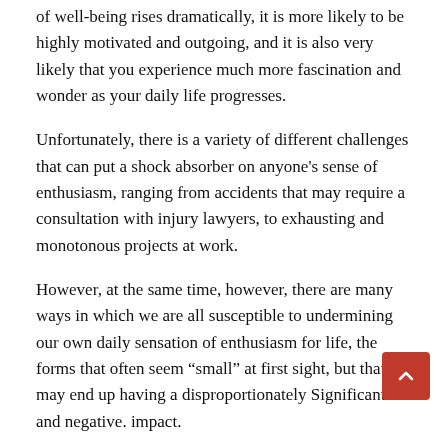of well-being rises dramatically, it is more likely to be highly motivated and outgoing, and it is also very likely that you experience much more fascination and wonder as your daily life progresses.
Unfortunately, there is a variety of different challenges that can put a shock absorber on anyone's sense of enthusiasm, ranging from accidents that may require a consultation with injury lawyers, to exhausting and monotonous projects at work.
However, at the same time, however, there are many ways in which we are all susceptible to undermining our own daily sensation of enthusiasm for life, the forms that often seem “small” at first sight, but that may end up having a disproportionately Significant and negative. impact.
Here are some examples of some of those “small” ways in which you could be undermining your enthusiasm for life , daily.
SLEEPING JUST A BIT LESS THAN YOU NE...
The wording of this point may seem strange, because, surely, being serious, the private dream would be much worse for your...